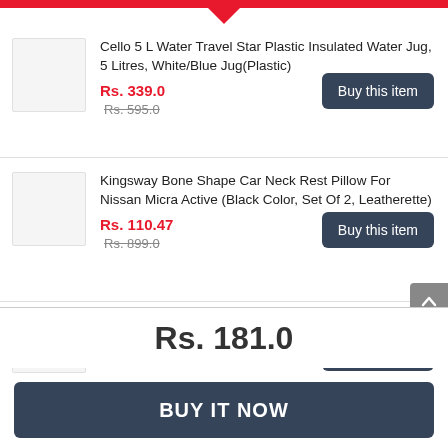Cello 5 L Water Travel Star Plastic Insulated Water Jug, 5 Litres, White/Blue Jug(Plastic) — Rs. 339.0 (was Rs. 595.0)
Kingsway Bone Shape Car Neck Rest Pillow For Nissan Micra Active (Black Color, Set Of 2, Leatherette) — Rs. 110.47 (was Rs. 899.0)
Koel By Lavie Women'S Western (Beige) — Rs. 849.0
Rs. 181.0
BUY IT NOW